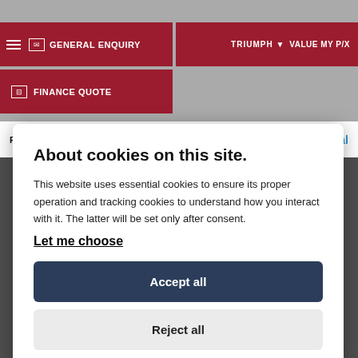[Figure (screenshot): Website navigation bar with General Enquiry and Finance Quote buttons in dark red, Bridge Motorcycles logo, Triumph logo and Value My P/X button]
Reserve This Bike.
[Figure (logo): PayPal logo]
About cookies on this site.
This website uses essential cookies to ensure its proper operation and tracking cookies to understand how you interact with it. The latter will be set only after consent.
Let me choose
Accept all
Reject all